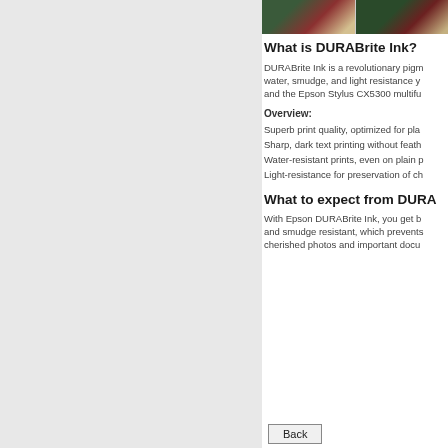[Figure (photo): Two cropped photo thumbnails side by side showing floral/nature images with red and green tones]
What is DURABrite Ink?
DURABrite Ink is a revolutionary pigm... water, smudge, and light resistance y... and the Epson Stylus CX5300 multifu...
Overview:
Superb print quality, optimized for pla...
Sharp, dark text printing without feath...
Water-resistant prints, even on plain p...
Light-resistance for preservation of ch...
What to expect from DURA...
With Epson DURABrite Ink, you get b... and smudge resistant, which prevents... cherished photos and important docu...
Back